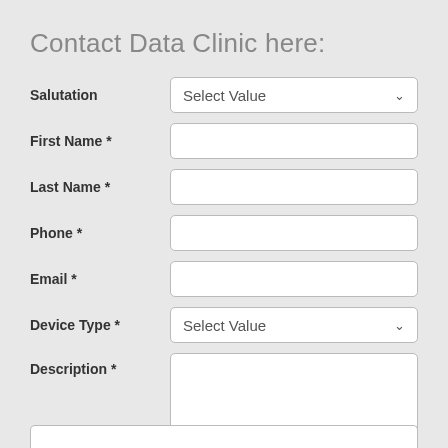Contact Data Clinic here:
Salutation — Select Value (dropdown)
First Name *
Last Name *
Phone *
Email *
Device Type * — Select Value (dropdown)
Description *
Email Opt-in *